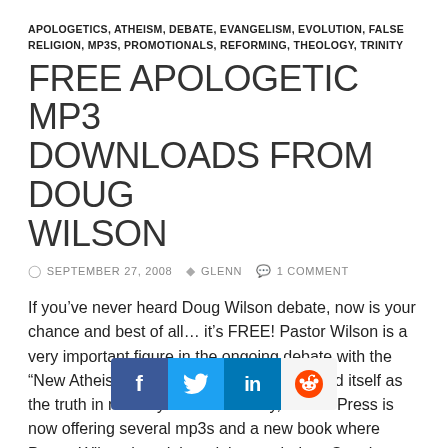APOLOGETICS, ATHEISM, DEBATE, EVANGELISM, EVOLUTION, FALSE RELIGION, MP3S, PROMOTIONALS, REFORMING, THEOLOGY, TRINITY
FREE APOLOGETIC MP3 DOWNLOADS FROM DOUG WILSON
SEPTEMBER 27, 2008   GLENN   1 COMMENT
If you’ve never heard Doug Wilson debate, now is your chance and best of all… it’s FREE! Pastor Wilson is a very important figure in the ongoing debate with the “New Atheism” that has so loudly proclaimed itself as the truth in recent years. Thankfully, Canon Press is now offering several mp3s and a new book where Pastor Wilson has debated these atheists. See the information below for what they are offering. But first, I would like to draw your attention to the mp3 they are
[Figure (other): Social sharing bar with Facebook, Twitter, LinkedIn, and Reddit buttons overlaid on the text]